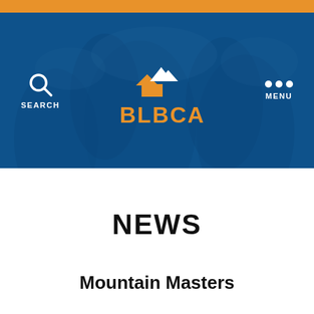BLBCA
[Figure (screenshot): BLBCA website header with dark blue background showing snowy mountain landscape. Contains SEARCH icon on left, BLBCA logo in center (orange house/mountain logo with orange and white text), and MENU dots on right.]
NEWS
Mountain Masters